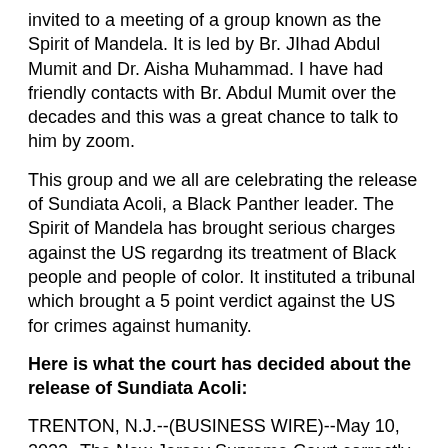invited to a meeting of a group known as the Spirit of Mandela. It is led by Br. JIhad Abdul Mumit and Dr. Aisha Muhammad. I have had friendly contacts with Br. Abdul Mumit over the decades and this was a great chance to talk to him by zoom.
This group and we all are celebrating the release of Sundiata Acoli, a Black Panther leader. The Spirit of Mandela has brought serious charges against the US regardng its treatment of Black people and people of color. It instituted a tribunal which brought a 5 point verdict against the US for crimes against humanity.
Here is what the court has decided about the release of Sundiata Acoli:
TRENTON, N.J.--(BUSINESS WIRE)--May 10, 2022--The New Jersey Supreme Court correctly upheld the law today, granting the release of 85-year-old Sundiata Acoli after serving more than 49 years in prison. The Supreme Court ruled that the parole board unlawfully denied Mr. Acoli's petition for release by claiming that he was a risk to public safety and noted that he has shown no substantial risk of recidivism or a risk to public safety.
Read the full decision here...